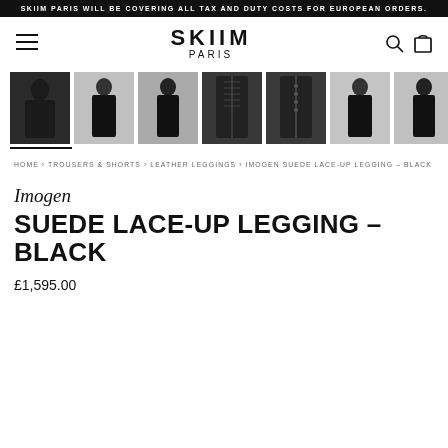SKIIM PARIS WILL BE COVERING ALL TAX AND DUTY COSTS FOR EUROPEAN ORDERS.
[Figure (screenshot): SKIIM PARIS brand navigation bar with hamburger menu, logo, search and bag icons]
[Figure (photo): Product thumbnail gallery showing 7 images of black suede lace-up leggings from different angles]
HOME › TROUSERS & SHORTS › LEATHER LEGGINGS › IMOGEN SUEDE LACE-UP LEGGING – BLACK
Imogen
SUEDE LACE-UP LEGGING – BLACK
£1,595.00